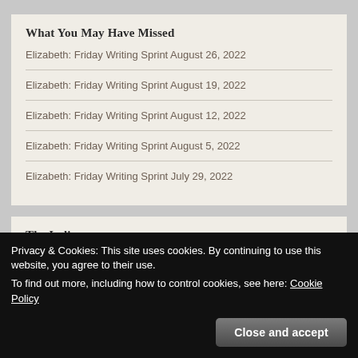What You May Have Missed
Elizabeth: Friday Writing Sprint August 26, 2022
Elizabeth: Friday Writing Sprint August 19, 2022
Elizabeth: Friday Writing Sprint August 12, 2022
Elizabeth: Friday Writing Sprint August 5, 2022
Elizabeth: Friday Writing Sprint July 29, 2022
The Indi...
Privacy & Cookies: This site uses cookies. By continuing to use this website, you agree to their use.
To find out more, including how to control cookies, see here: Cookie Policy